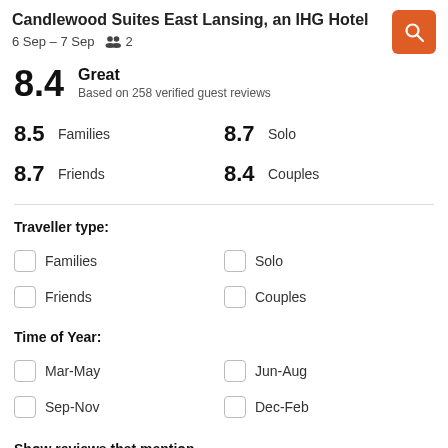Candlewood Suites East Lansing, an IHG Hotel
6 Sep – 7 Sep   2
8.4  Great
Based on 258 verified guest reviews
8.5  Families    8.7  Solo
8.7  Friends    8.4  Couples
Traveller type:
Families  Solo
Friends  Couples
Time of Year:
Mar-May  Jun-Aug
Sep-Nov  Dec-Feb
Show reviews that mention